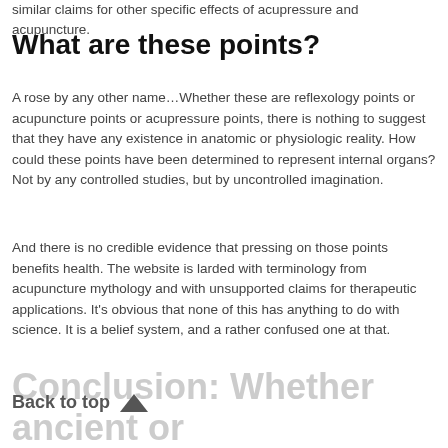similar claims for other specific effects of acupressure and acupuncture.
What are these points?
A rose by any other name…Whether these are reflexology points or acupuncture points or acupressure points, there is nothing to suggest that they have any existence in anatomic or physiologic reality. How could these points have been determined to represent internal organs? Not by any controlled studies, but by uncontrolled imagination.
And there is no credible evidence that pressing on those points benefits health. The website is larded with terminology from acupuncture mythology and with unsupported claims for therapeutic applications. It's obvious that none of this has anything to do with science. It is a belief system, and a rather confused one at that.
Conclusion: Whether ancient or modern, reflexology is still bogus
Back to top